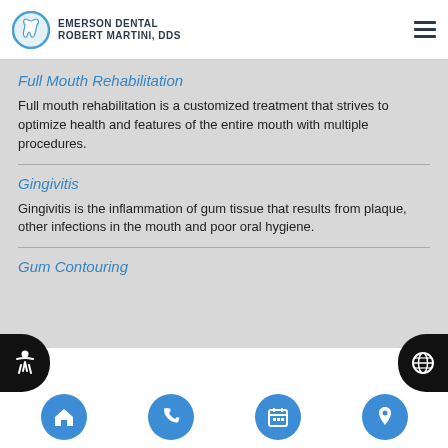EMERSON DENTAL ROBERT MARTINI, DDS
Full Mouth Rehabilitation
Full mouth rehabilitation is a customized treatment that strives to optimize health and features of the entire mouth with multiple procedures.
Gingivitis
Gingivitis is the inflammation of gum tissue that results from plaque, other infections in the mouth and poor oral hygiene.
Gum Contouring